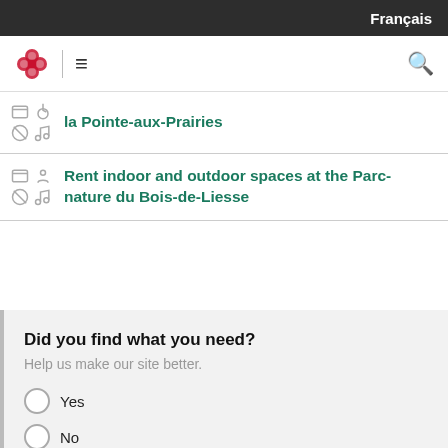Français
[Figure (logo): Montreal city logo (red flower/clover icon) with hamburger menu and search icon navigation bar]
la Pointe-aux-Prairies
Rent indoor and outdoor spaces at the Parc-nature du Bois-de-Liesse
Did you find what you need?
Help us make our site better.
Yes
No